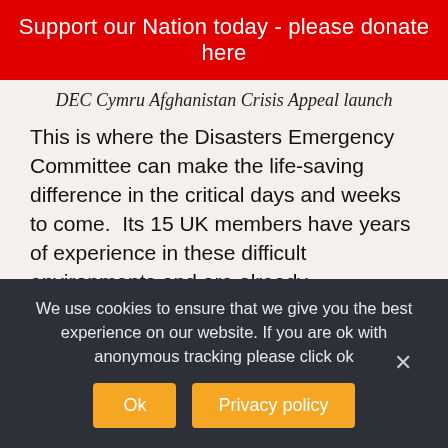Support our Nation today - please donate here
DEC Cymru Afghanistan Crisis Appeal launch
This is where the Disasters Emergency Committee can make the life-saving difference in the critical days and weeks to come.  Its 15 UK members have years of experience in these difficult environments and are already coordinating closely with the local authorities and UN agencies to deliver humanitarian assistance in ways that are best suited to the needs of those affected.
With your help, they can rapidly scale up their relief
We use cookies to ensure that we give you the best experience on our website. If you are ok with anonymous tracking please click ok